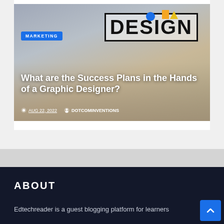[Figure (photo): Blog article card showing a graphic designer working at a computer with a monitor displaying the word DESIGN. Overlaid text includes a MARKETING badge, article title, date and author.]
What are the Success Plans in the Hands of a Graphic Designer?
AUG 22, 2022   DOTCOMINVENTIONS
ABOUT
Edtechreader is a guest blogging platform for learners